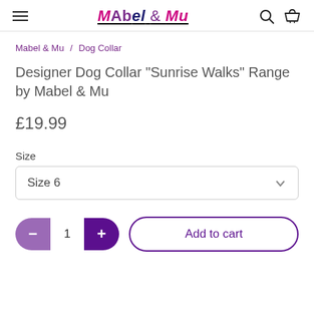Mabel & Mu
Mabel & Mu / Dog Collar
Designer Dog Collar "Sunrise Walks" Range by Mabel & Mu
£19.99
Size
Size 6
1
Add to cart